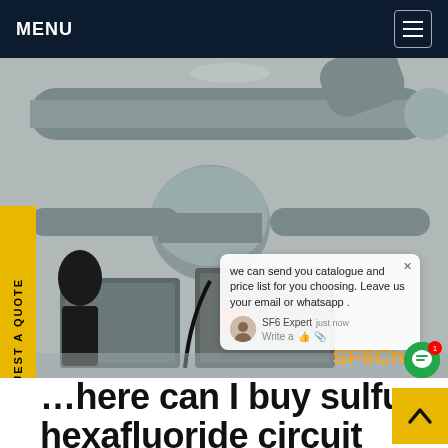MENU
[Figure (photo): Industrial sulfur hexafluoride (SF6) circuit breaker equipment with large cylindrical pipes and electrical components in a facility, with SF6China chat overlay visible]
we can send you catalogue and price list for you choosing. Leave us your email or whatsapp .
SF6 Expert   just now
Write a
...here can I buy sulfur hexafluoride circuit breaker North America